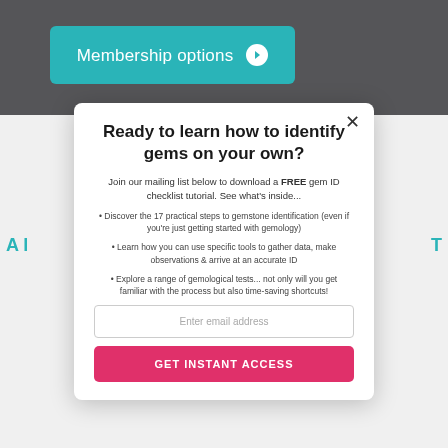[Figure (screenshot): Dark gray top bar with teal 'Membership options' button with white circle arrow icon]
[Figure (screenshot): Social media icon buttons strip (5 icons) in teal borders, partially visible behind modal]
Ready to learn how to identify gems on your own?
Join our mailing list below to download a FREE gem ID checklist tutorial. See what's inside...
Discover the 17 practical steps to gemstone identification (even if you're just getting started with gemology)
Learn how you can use specific tools to gather data, make observations & arrive at an accurate ID
Explore a range of gemological tests... not only will you get familiar with the process but also time-saving shortcuts!
Enter email address
GET INSTANT ACCESS